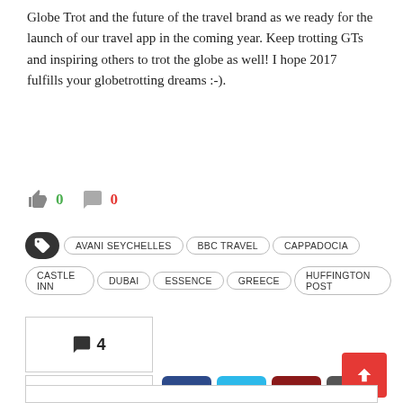Globe Trot and the future of the travel brand as we ready for the launch of our travel app in the coming year. Keep trotting GTs and inspiring others to trot the globe as well! I hope 2017 fulfills your globetrotting dreams :-).
[Figure (infographic): Thumbs up icon with green count 0 and speech bubble icon with red count 0]
AVANI SEYCHELLES
BBC TRAVEL
CAPPADOCIA
CASTLE INN
DUBAI
ESSENCE
GREECE
HUFFINGTON POST
[Figure (infographic): Comment count box showing speech bubble icon and number 4]
[Figure (infographic): Share row with Share label box and social media buttons: Facebook, Twitter, Pinterest, Email]